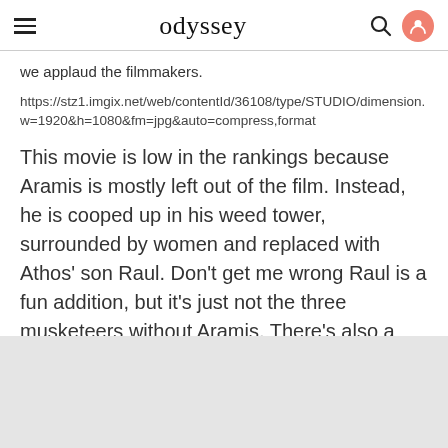odyssey
we applaud the filmmakers.
https://stz1.imgix.net/web/contentId/36108/type/STUDIO/dimension. w=1920&h=1080&fm=jpg&auto=compress,format
This movie is low in the rankings because Aramis is mostly left out of the film. Instead, he is cooped up in his weed tower, surrounded by women and replaced with Athos' son Raul. Don't get me wrong Raul is a fun addition, but it's just not the three musketeers without Aramis. There's also a hot air balloon?
[Figure (other): Gray placeholder image block at the bottom of the page]